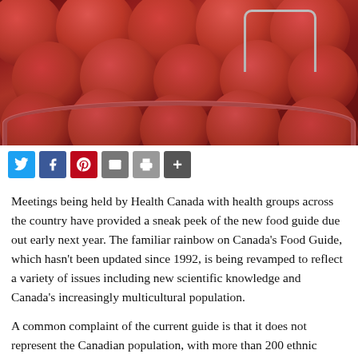[Figure (photo): Photograph of red apples in a red barrel/basket with a wire handle visible in the background]
Social sharing buttons: Twitter, Facebook, Pinterest, Email, Print, More
Meetings being held by Health Canada with health groups across the country have provided a sneak peek of the new food guide due out early next year. The familiar rainbow on Canada's Food Guide, which hasn't been updated since 1992, is being revamped to reflect a variety of issues including new scientific knowledge and Canada's increasingly multicultural population.
A common complaint of the current guide is that it does not represent the Canadian population, with more than 200 ethnic groups. Health Canada is hoping to make the new guide more culturally diverse by including more pictures and examples of ethnic foods, possibly even